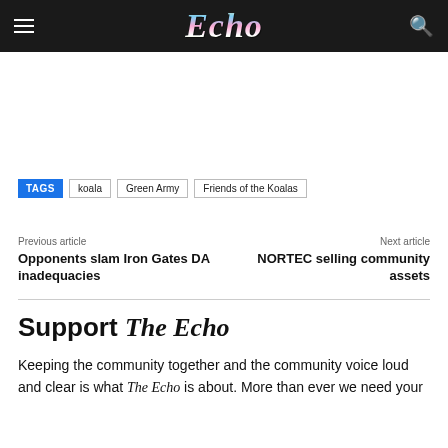Echo
TAGS  koala  Green Army  Friends of the Koalas
Previous article
Opponents slam Iron Gates DA inadequacies
Next article
NORTEC selling community assets
Support The Echo
Keeping the community together and the community voice loud and clear is what The Echo is about. More than ever we need your